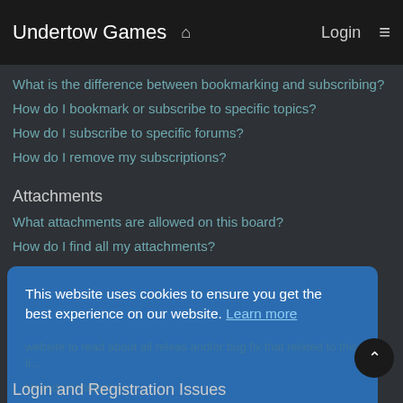Undertow Games | Login
What is the difference between bookmarking and subscribing?
How do I bookmark or subscribe to specific topics?
How do I subscribe to specific forums?
How do I remove my subscriptions?
Attachments
What attachments are allowed on this board?
How do I find all my attachments?
phpBB Issues
Who wrote this bulletin board?
This website uses cookies to ensure you get the best experience on our website. Learn more
Got it!
Login and Registration Issues